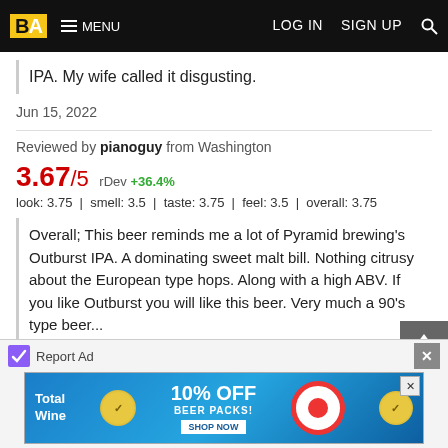BA  MENU  LOG IN  SIGN UP
IPA. My wife called it disgusting.
Jun 15, 2022
Reviewed by pianoguy from Washington
3.67/5  rDev +36.4%
look: 3.75 | smell: 3.5 | taste: 3.75 | feel: 3.5 | overall: 3.75
Overall; This beer reminds me a lot of Pyramid brewing's Outburst IPA. A dominating sweet malt bill. Nothing citrusy about the European type hops. Along with a high ABV. If you like Outburst you will like this beer. Very much a 90's type beer...

12 Oz can. No package date. Poured into a pint glass
Report Ad